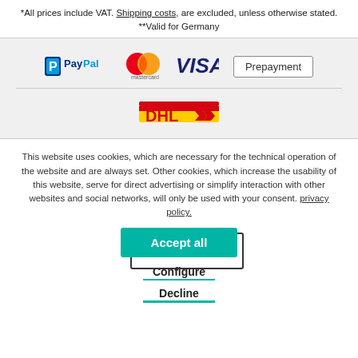*All prices include VAT. Shipping costs, are excluded, unless otherwise stated.
**Valid for Germany
[Figure (logo): Payment method logos: PayPal, Mastercard, Visa, and Prepayment button]
[Figure (logo): DHL shipping logo]
This website uses cookies, which are necessary for the technical operation of the website and are always set. Other cookies, which increase the usability of this website, serve for direct advertising or simplify interaction with other websites and social networks, will only be used with your consent. privacy policy.
Accept all
Configure
Decline